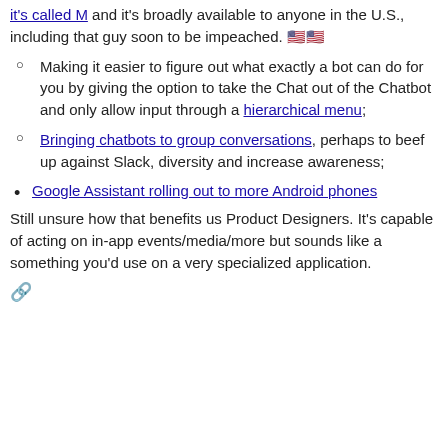Assistant which inserts itself into conversations, it's called M and it's broadly available to anyone in the U.S., including that guy soon to be impeached. 🇺🇸🇺🇸
Making it easier to figure out what exactly a bot can do for you by giving the option to take the Chat out of the Chatbot and only allow input through a hierarchical menu;
Bringing chatbots to group conversations, perhaps to beef up against Slack, diversity and increase awareness;
Google Assistant rolling out to more Android phones Still unsure how that benefits us Product Designers. It's capable of acting on in-app events/media/more but sounds like a something you'd use on a very specialized application.
🔗